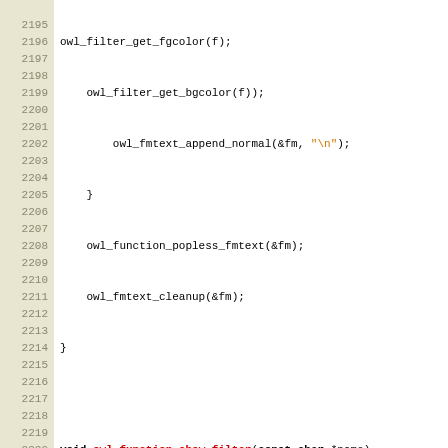[Figure (screenshot): Source code viewer showing C code lines 2195-2223, with line numbers on left in beige background and code on white background with syntax highlighting. Keywords in bold black, function names in red/bold, string literals in orange.]